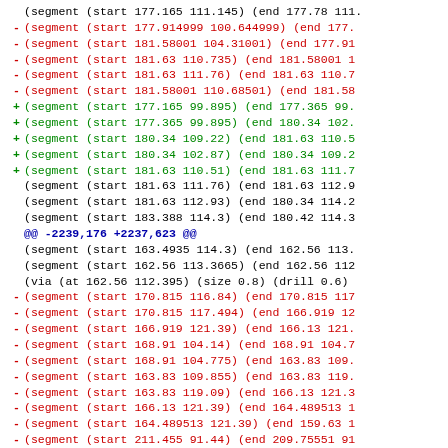diff/patch code showing segment coordinate changes in an engineering file (PCB or similar), with context, removed (-), added (+) lines, and a hunk header @@ -2239,176 +2237,623 @@